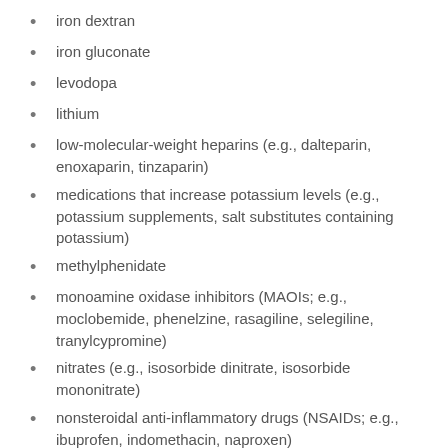iron dextran
iron gluconate
levodopa
lithium
low-molecular-weight heparins (e.g., dalteparin, enoxaparin, tinzaparin)
medications that increase potassium levels (e.g., potassium supplements, salt substitutes containing potassium)
methylphenidate
monoamine oxidase inhibitors (MAOIs; e.g., moclobemide, phenelzine, rasagiline, selegiline, tranylcypromine)
nitrates (e.g., isosorbide dinitrate, isosorbide mononitrate)
nonsteroidal anti-inflammatory drugs (NSAIDs; e.g., ibuprofen, indomethacin, naproxen)
obinutuzumab